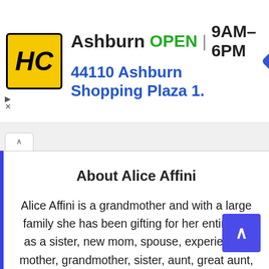[Figure (screenshot): Ad banner for Hairclub (HC) Ashburn location showing logo, OPEN status, hours 9AM-6PM, address 44110 Ashburn Shopping Plaza 1., and navigation arrow icon]
About Alice Affini
Alice Affini is a grandmother and with a large family she has been gifting for her entire life as a sister, new mom, spouse, experienced mother, grandmother, sister, aunt, great aunt, surrogate parent and friend. Her gifting experience ranges from friends to family such as her husband, now adult children through the years, many grandchildren, nieces, nephews, siblings and even in-laws. With her vast experience in gifting and a background in English and interpersonal